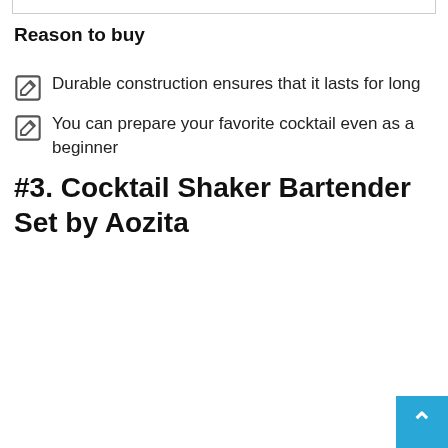Reason to buy
Durable construction ensures that it lasts for long
You can prepare your favorite cocktail even as a beginner
#3. Cocktail Shaker Bartender Set by Aozita